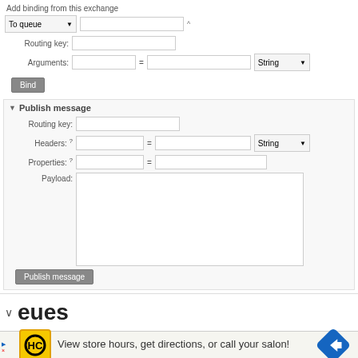Add binding from this exchange
[Figure (screenshot): Web UI form for adding a binding from an exchange, including To queue dropdown, Routing key input, Arguments inputs with String dropdown, and a Bind button]
Publish message
[Figure (screenshot): Web UI form for publishing a message with Routing key, Headers, Properties, Payload textarea, and Publish message button]
eues
[Figure (infographic): Advertisement: HC logo with text 'View store hours, get directions, or call your salon!' and a blue navigation arrow icon]